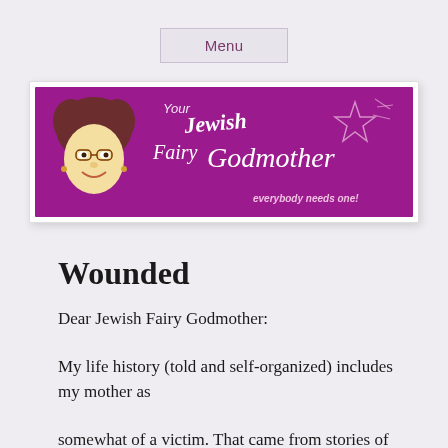Menu
[Figure (logo): Your Jewish Fairy Godmother banner with cartoon woman face on purple background. Tagline: everybody needs one!]
Wounded
Dear Jewish Fairy Godmother:
My life history (told and self-organized) includes my mother as
somewhat of a victim. That came from stories of her Holocaust youth,